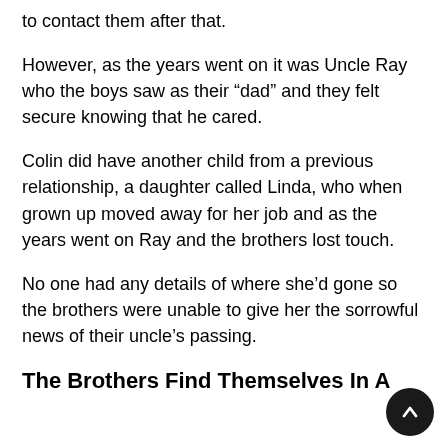to contact them after that.
However, as the years went on it was Uncle Ray who the boys saw as their “dad” and they felt secure knowing that he cared.
Colin did have another child from a previous relationship, a daughter called Linda, who when grown up moved away for her job and as the years went on Ray and the brothers lost touch.
No one had any details of where she’d gone so the brothers were unable to give her the sorrowful news of their uncle’s passing.
The Brothers Find Themselves In A